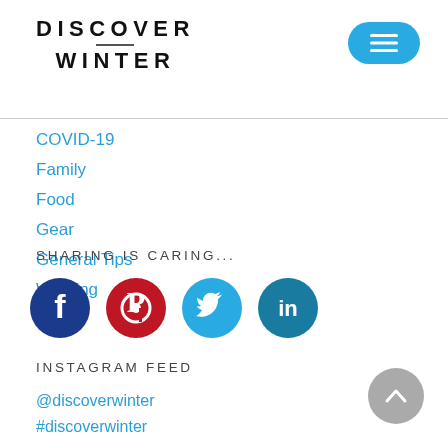DISCOVER WINTER
COVID-19
Family
Food
Gear
General Tips
Working
SHARING IS CARING...
[Figure (infographic): Social media icons: Facebook (dark blue circle), Pinterest (red circle), Twitter (light blue circle), LinkedIn (dark cyan circle)]
INSTAGRAM FEED
@discoverwinter
#discoverwinter